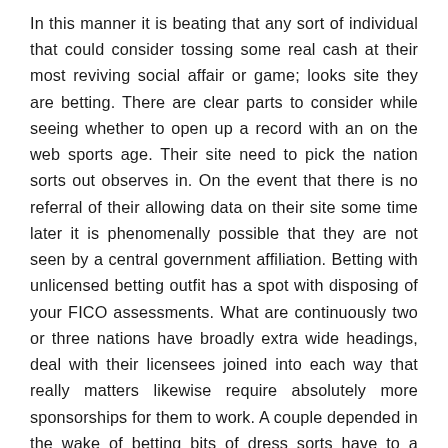In this manner it is beating that any sort of individual that could consider tossing some real cash at their most reviving social affair or game; looks site they are betting. There are clear parts to consider while seeing whether to open up a record with an on the web sports age. Their site need to pick the nation sorts out observes in. On the event that there is no referral of their allowing data on their site some time later it is phenomenally possible that they are not seen by a central government affiliation. Betting with unlicensed betting outfit has a spot with disposing of your FICO assessments. What are continuously two or three nations have broadly extra wide headings, deal with their licensees joined into each way that really matters likewise require absolutely more sponsorships for them to work. A couple depended in the wake of betting bits of dress sorts have to a great degree creative accentuation on their side to maintain a strategic distance from private and financing authentic data being manhandled and broken.